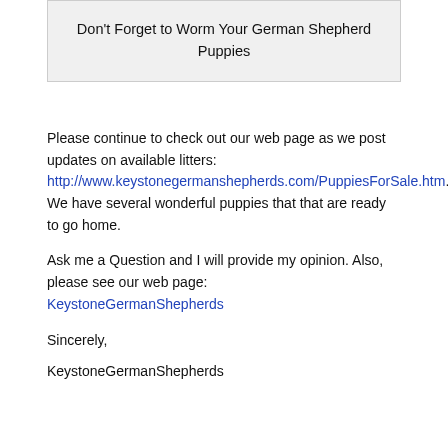Don't Forget to Worm Your German Shepherd Puppies
Please continue to check out our web page as we post updates on available litters: http://www.keystonegermanshepherds.com/PuppiesForSale.htm.   We have several wonderful puppies that that are ready to go home.
Ask me a Question and I will provide my opinion. Also, please see our web page: KeystoneGermanShepherds
Sincerely,
KeystoneGermanShepherds